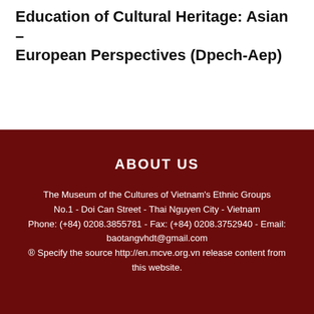Seminar on Digital Preservation and Education of Cultural Heritage: Asian – European Perspectives (Dpech-Aep)
ABOUT US
The Museum of the Cultures of Vietnam's Ethnic Groups
No.1 - Doi Can Street - Thai Nguyen City - Vietnam
Phone: (+84) 0208.3855781 - Fax: (+84) 0208.3752940 - Email: baotangvhdt@gmail.com
® Specify the source http://en.mcve.org.vn release content from this website.